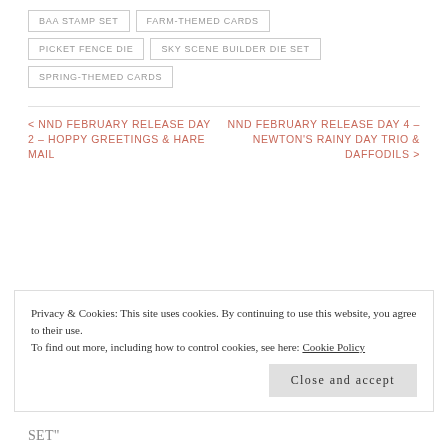BAA STAMP SET
FARM-THEMED CARDS
PICKET FENCE DIE
SKY SCENE BUILDER DIE SET
SPRING-THEMED CARDS
< NND FEBRUARY RELEASE DAY 2 – HOPPY GREETINGS & HARE MAIL
NND FEBRUARY RELEASE DAY 4 – NEWTON'S RAINY DAY TRIO & DAFFODILS >
Privacy & Cookies: This site uses cookies. By continuing to use this website, you agree to their use.
To find out more, including how to control cookies, see here: Cookie Policy
Close and accept
SET"